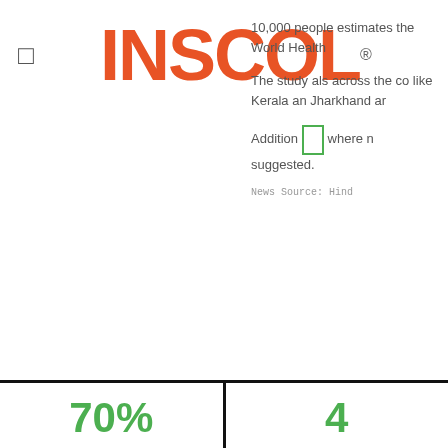INSCOL®
10,000 people estimates the World Health
The study also across the co like Kerala an Jharkhand ar
Addition where n suggested.
News Source: Hind
70%
of male nurses think stereotypes
4
RNs in Chin